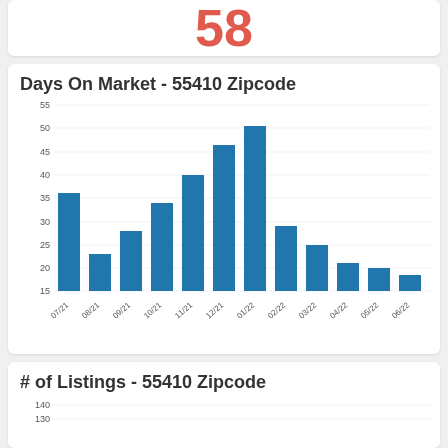58
[Figure (bar-chart): Days On Market - 55410 Zipcode]
# of Listings - 55410 Zipcode